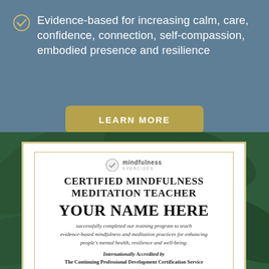Evidence-based for increasing calm, care, confidence, connection, self-compassion, embodied presence and resilience
LEARN MORE
[Figure (illustration): Dark green tropical leaf background behind a certificate card]
[Figure (logo): Mindfulness Exercises logo — circle with check icon and text 'mindfulness EXERCISES']
CERTIFIED MINDFULNESS MEDITATION TEACHER
YOUR NAME HERE
successfully completed our training program to teach evidence-based mindfulness and meditation practices for enhancing people's mental health, resilience and well-being.
Internationally Accredited by The Continuing Professional Development Certification Service